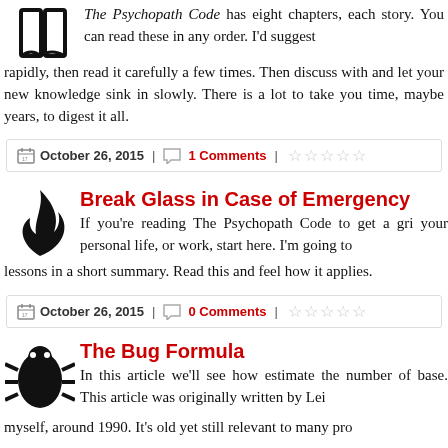The Psychopath Code has eight chapters, each story. You can read these in any order. I'd suggest rapidly, then read it carefully a few times. Then discuss with and let your new knowledge sink in slowly. There is a lot to take you time, maybe years, to digest it all.
October 26, 2015 | 1 Comments |
Break Glass in Case of Emergency
If you're reading The Psychopath Code to get a grip on your personal life, or work, start here. I'm going to lessons in a short summary. Read this and feel how it applies.
October 26, 2015 | 0 Comments |
The Bug Formula
In this article we'll see how estimate the number of base. This article was originally written by Lei myself, around 1990. It's old yet still relevant to many pro...